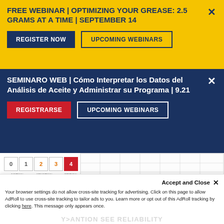FREE WEBINAR | OPTIMIZING YOUR GREASE: 2.5 GRAMS AT A TIME | SEPTEMBER 14
REGISTER NOW
UPCOMING WEBINARS
SEMINARO WEB | Cómo Interpretar los Datos del Análisis de Aceite y Administrar su Programa | 9.21
REGISTRARSE
UPCOMING WEBINARS
[Figure (other): Severity rating scale showing 0, 1, 2, 3, 4 boxes with 4 highlighted in red. Labels: NORMAL, ABNORMAL, CRITICAL. Caption: Overall report severity based on comments.]
[Figure (screenshot): Thumbnail of a lubrication analysis report table with a play button overlay indicating a video]
Valley
Accept and Close ✕
Your browser settings do not allow cross-site tracking for advertising. Click on this page to allow AdRoll to use cross-site tracking to tailor ads to you. Learn more or opt out of this AdRoll tracking by clicking here. This message only appears once.